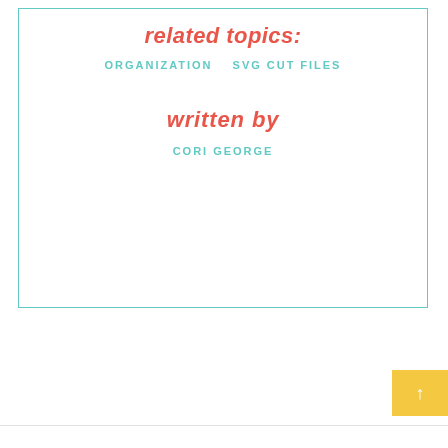related topics:
ORGANIZATION   SVG CUT FILES
written by
CORI GEORGE